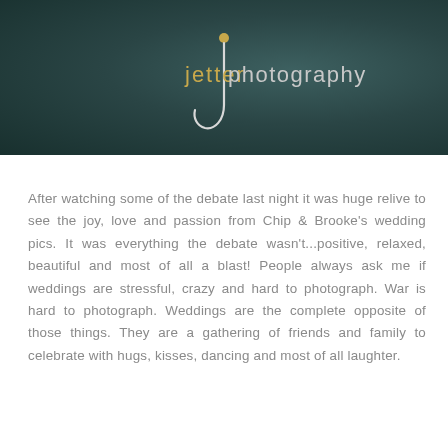[Figure (logo): Jetter Photography logo on dark teal/green background. 'jetter' text in golden/amber color on left, 'photography' text in light gray on right, with a white stylized letter J curve/swirl between them and a small orange dot above.]
After watching some of the debate last night it was huge relive to see the joy, love and passion from Chip & Brooke's wedding pics. It was everything the debate wasn't...positive, relaxed, beautiful and most of all a blast! People always ask me if weddings are stressful, crazy and hard to photograph. War is hard to photograph. Weddings are the complete opposite of those things. They are a gathering of friends and family to celebrate with hugs, kisses, dancing and most of all laughter.